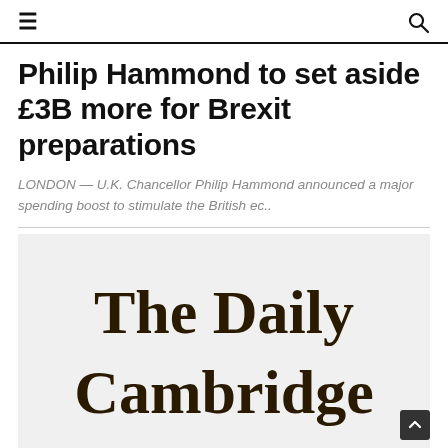☰  🔍
Philip Hammond to set aside £3B more for Brexit preparations
LONDON — U.K. Chancellor Philip Hammond announced a major spending boost to stimulate the British ec..
[Figure (logo): The Daily Cambridge newspaper logo in black Gothic/Old English typeface on a light grey background]